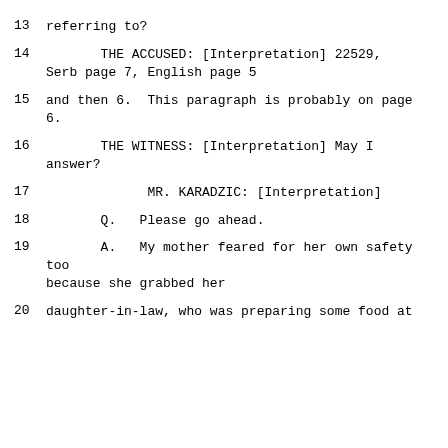13    referring to?
14         THE ACCUSED: [Interpretation] 22529, Serb page 7, English page 5
15    and then 6.  This paragraph is probably on page 6.
16         THE WITNESS: [Interpretation] May I answer?
17              MR. KARADZIC: [Interpretation]
18         Q.   Please go ahead.
19         A.   My mother feared for her own safety too because she grabbed her
20    daughter-in-law, who was preparing some food at